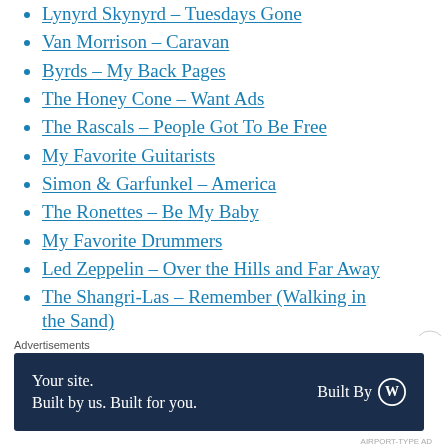Lynyrd Skynyrd – Tuesdays Gone
Van Morrison – Caravan
Byrds – My Back Pages
The Honey Cone – Want Ads
The Rascals – People Got To Be Free
My Favorite Guitarists
Simon & Garfunkel – America
The Ronettes – Be My Baby
My Favorite Drummers
Led Zeppelin – Over the Hills and Far Away
The Shangri-Las – Remember (Walking in the Sand)
Ray Charles – What I'd Say
Advertisements
[Figure (other): Advertisement banner: 'Your site. Built by us. Built for you. Built By WordPress logo']